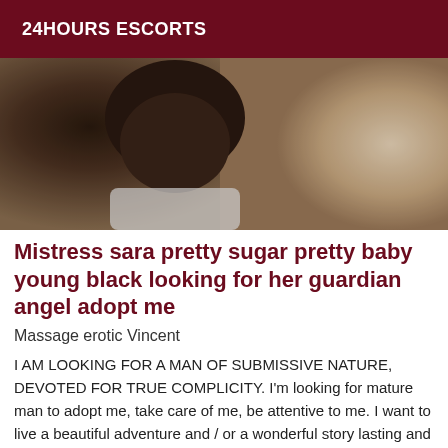24HOURS ESCORTS
[Figure (photo): Close-up photo of a person with dark hair, appears to be leaning forward, with a light beige/cream background visible on the right side.]
Mistress sara pretty sugar pretty baby young black looking for her guardian angel adopt me
Massage erotic Vincent
I AM LOOKING FOR A MAN OF SUBMISSIVE NATURE, DEVOTED FOR TRUE COMPLICITY. I'm looking for mature man to adopt me, take care of me, be attentive to me. I want to live a beautiful adventure and / or a wonderful story lasting and unforgettable... I am very cerebral, I am looking for an evolutionary and sincere relationship. You want to invest yourself in the life of a goddess, to be at my feet, to be mine, to take